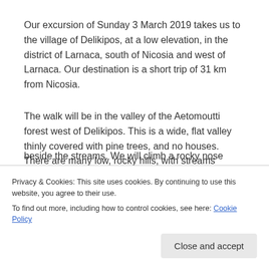Our excursion of Sunday 3 March 2019 takes us to the village of Delikipos, at a low elevation, in the district of Larnaca, south of Nicosia and west of Larnaca. Our destination is a short trip of 31 km from Nicosia.
The walk will be in the valley of the Aetomoutti forest west of Delikipos. This is a wide, flat valley thinly covered with pine trees, and no houses. There are many low, rocky hills, with streams winding between them. There are pine trees on the…
beside the streams. We will climb a rocky nose
Privacy & Cookies: This site uses cookies. By continuing to use this website, you agree to their use.
To find out more, including how to control cookies, see here: Cookie Policy